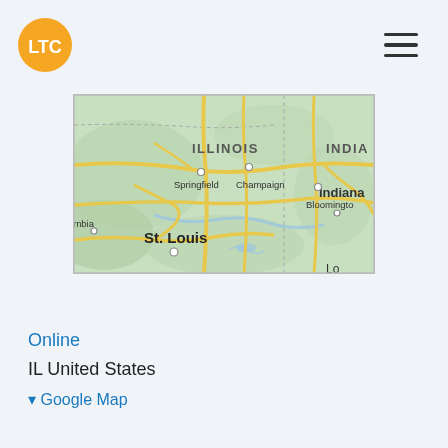LTC
[Figure (map): A Google Maps view showing parts of Illinois and Indiana, USA. Visible cities include Springfield, Champaign (Illinois), Indiana, Bloomington (Indiana), St. Louis, and partially visible Columbia (Missouri). Yellow roads and green terrain are shown with state borders.]
Online
IL United States
Google Map